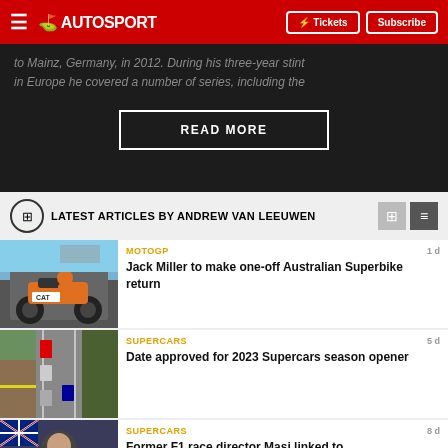AUTOSPORT — Tickets | Subscribe
to Mainz, Germany, in 2012. During his three-year stint in Europe he covered a number of series, including the
READ MORE
LATEST ARTICLES BY ANDREW VAN LEEUWEN
[Figure (photo): Motorcycle racer Jack Miller on a KTM superbike in pit lane]
MOTOGP
1d
Jack Miller to make one-off Australian Superbike return
[Figure (photo): Aerial view of Supercars race at street circuit with spectators]
SUPERCARS
5d
Date approved for 2023 Supercars season opener
[Figure (photo): SANDOWN badge — man in mask at racing event with Australian flag]
SUPERCARS
8d
Former F1 race director Masi linked to